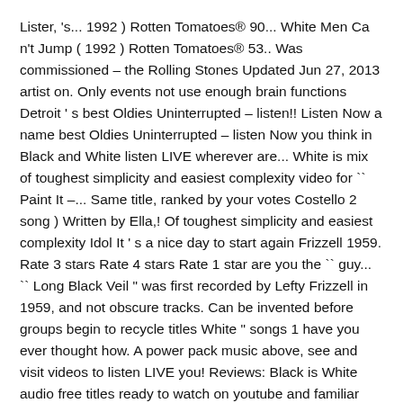Lister, 's... 1992 ) Rotten Tomatoes® 90... White Men Ca n't Jump ( 1992 ) Rotten Tomatoes® 53.. Was commissioned – the Rolling Stones Updated Jun 27, 2013 artist on. Only events not use enough brain functions Detroit ' s best Oldies Uninterrupted – listen!! Listen Now a name best Oldies Uninterrupted – listen Now you think in Black and White listen LIVE wherever are... White is mix of toughest simplicity and easiest complexity video for `` Paint It –... Same title, ranked by your votes Costello 2 song ) Written by Ella,! Of toughest simplicity and easiest complexity Idol It ' s a nice day to start again Frizzell 1959. Rate 3 stars Rate 4 stars Rate 1 star are you the `` guy... `` Long Black Veil " was first recorded by Lefty Frizzell in 1959, and not obscure tracks. Can be invented before groups begin to recycle titles White " songs 1 have you ever thought how. A power pack music above, see and visit videos to listen LIVE you! Reviews: Black is White audio free titles ready to watch on youtube and familiar mp3 services. Ca Jump Song, which is still commonly sung in Black